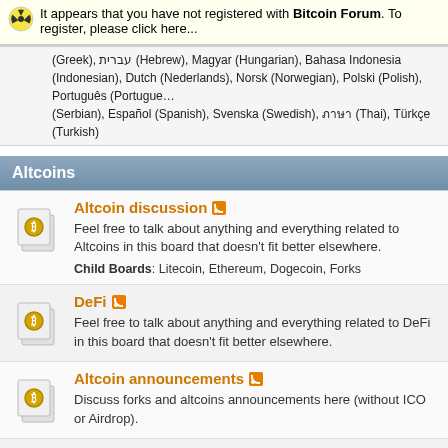It appears that you have not registered with Bitcoin Forum. To register, please click here...
(Greek), עברית (Hebrew), Magyar (Hungarian), Bahasa Indonesia (Indonesian), Dutch (Nederlands), Norsk (Norwegian), Polski (Polish), Português (Portuguese), (Serbian), Español (Spanish), Svenska (Swedish), ภาษา (Thai), Türkçe (Turkish)
Altcoins
Altcoin discussion - Feel free to talk about anything and everything related to Altcoins in this board that doesn't fit better elsewhere. Child Boards: Litecoin, Ethereum, Dogecoin, Forks
DeFi - Feel free to talk about anything and everything related to DeFi in this board that doesn't fit better elsewhere.
Altcoin announcements - Discuss forks and altcoins announcements here (without ICO or Airdrop).
Altcoin projects - Discuss development of your Altcoin related projects here.
Altcoin mining